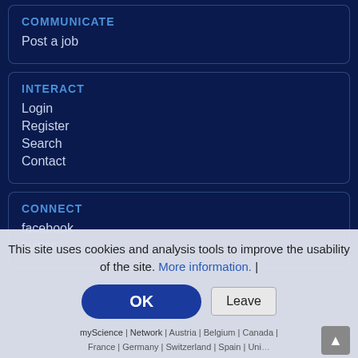COMMUNICATE
Post a job
INTERACT
Login
Register
Search
Contact
CONNECT
facebook
twitter
This site uses cookies and analysis tools to improve the usability of the site. More information. |
OK
Leave
myScience | Network | Austria | Belgium | Canada | France | Germany | Switzerland | Spain | United Kingdom